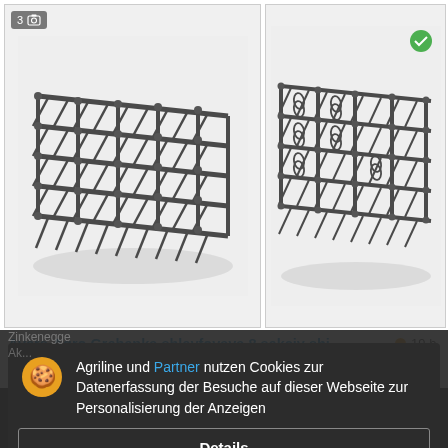[Figure (photo): Product image of Avers-Agro Grebenka (chain harrow/tine harrow) - left panel showing grid of tines from front angle, with badge showing '3' photos]
[Figure (photo): Product image of Avers-Agro Grebenka (chain harrow/tine harrow) - right panel showing grid of tines from slight angle]
Avers-Agro Grebenka shleyfovaya 8 sekciy shi...
19 h.
406.70 € UAH
Zinkenegge
Ak...
Ukraine
Agriline und Partner nutzen Cookies zur Datenerfassung der Besuche auf dieser Webseite zur Personalisierung der Anzeigen
Details
Akzeptieren und schließen